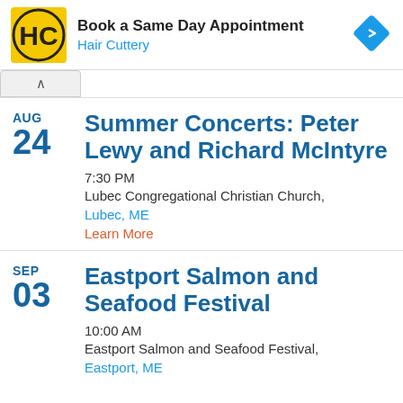[Figure (screenshot): Hair Cuttery advertisement banner with logo, text 'Book a Same Day Appointment', 'Hair Cuttery', and a blue navigation arrow icon]
AUG 24 Summer Concerts: Peter Lewy and Richard McIntyre
7:30 PM
Lubec Congregational Christian Church,
Lubec, ME
Learn More
SEP 03 Eastport Salmon and Seafood Festival
10:00 AM
Eastport Salmon and Seafood Festival,
Eastport, ME